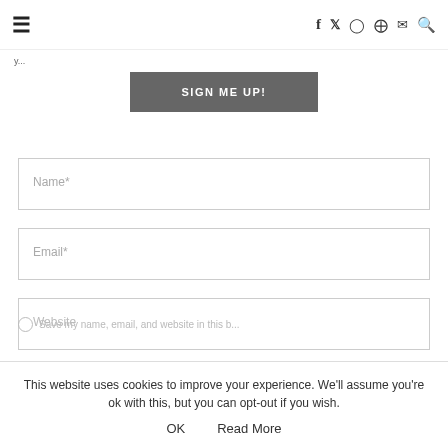≡  f  𝕏  ⊙  𝗣  ✉  🔍
y...
SIGN ME UP!
Name*
Email*
Website
Save my name, email, and website in this b...
This website uses cookies to improve your experience. We'll assume you're ok with this, but you can opt-out if you wish.
OK    Read More